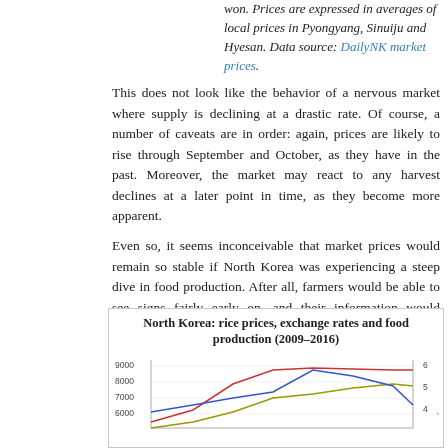won. Prices are expressed in averages of local prices in Pyongyang, Sinuiju and Hyesan. Data source: DailyNK market prices.
This does not look like the behavior of a nervous market where supply is declining at a drastic rate. Of course, a number of caveats are in order: again, prices are likely to rise through September and October, as they have in the past. Moreover, the market may react to any harvest declines at a later point in time, as they become more apparent.
Even so, it seems inconceivable that market prices would remain so stable if North Korea was experiencing a steep dive in food production. After all, farmers would be able to see signs fairly early on, and their information would presumably filter through the market as a whole. In short, it is logically unthinkable that markets simply would not react to an unusually poor harvest.
This all begs the question of how much market prices tend to correlate with the FAO:s harvest figures overall. The short answer appears to be: not much. The figure below (click here for larger version) shows the average prices for rice and foreign exchange per year on the North Korean market since 2011, and harvest estimates drawn from reports by the FAO and the World Food Program (WFP). (See the end of this post for a more detailed explanation of the underlying calculations.)*
[Figure (line-chart): Line chart showing rice prices, exchange rates and food production in North Korea from 2009 to 2016. Y-axis left shows Korean won (6000-9000), Y-axis right shows million tons (4-6). Multiple colored lines shown.]